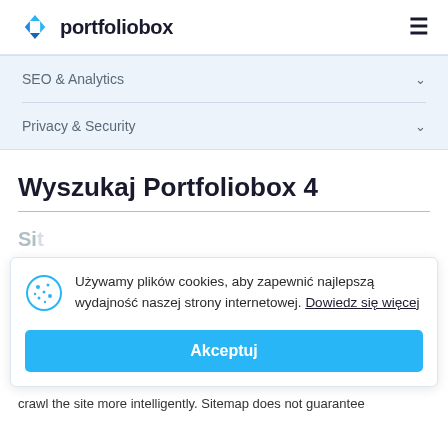portfoliobox
SEO & Analytics
Privacy & Security
Wyszukaj Portfoliobox 4
Używamy plików cookies, aby zapewnić najlepszą wydajność naszej strony internetowej. Dowiedz się więcej
Akceptuj
crawl the site more intelligently. Sitemap does not guarantee